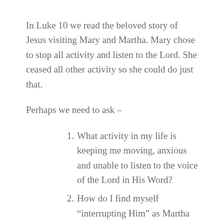In Luke 10 we read the beloved story of Jesus visiting Mary and Martha. Mary chose to stop all activity and listen to the Lord. She ceased all other activity so she could do just that.
Perhaps we need to ask –
What activity in my life is keeping me moving, anxious and unable to listen to the voice of the Lord in His Word?
How do I find myself “interrupting Him” as Martha did?
It’s hard to hear and heed God’s Word without the discipline to sit still and listen. We must make the choice to choose the one thing that is needed. Then after we’ve given it to the Lord, He takes over.  He does the Psalm